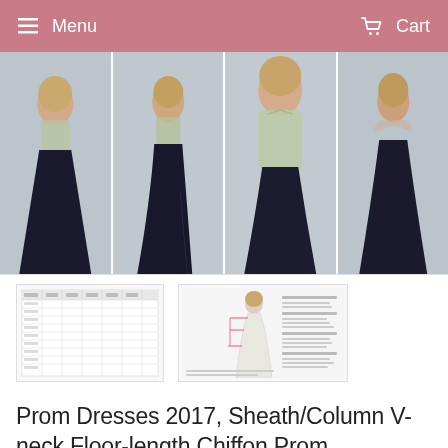Menu   Cart
[Figure (photo): Four product photos of a black prom dress with beaded V-neck bodice shown from different angles: full length front left, full length with side slit, close-up front torso, and back view.]
[Figure (table-as-image): Size chart thumbnail showing a grid of measurements.]
[Figure (illustration): Dress measurement guide thumbnail showing a woman in a white gown with measurement lines and text instructions.]
Prom Dresses 2017, Sheath/Column V-neck Floor-length Chiffon Prom Dress/Evening Dress AMY334